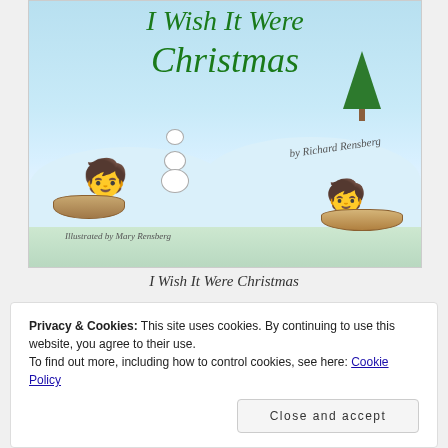[Figure (illustration): Book cover for 'I Wish It Were Christmas' by Richard Rensberg, illustrated by Mary Rensberg. Shows a snowy winter scene with a child building a snowman, a child sledding, an empty sled, and a green Christmas tree. The title is in green italic script at the top.]
I Wish It Were Christmas
Privacy & Cookies: This site uses cookies. By continuing to use this website, you agree to their use.
To find out more, including how to control cookies, see here: Cookie Policy
Close and accept